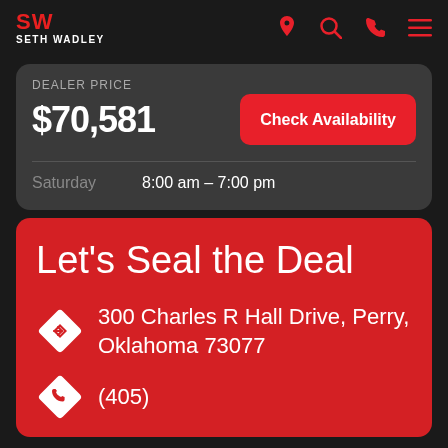SW SETH WADLEY
DEALER PRICE
$70,581
Check Availability
Saturday   8:00 am – 7:00 pm
Let's Seal the Deal
300 Charles R Hall Drive, Perry, Oklahoma 73077